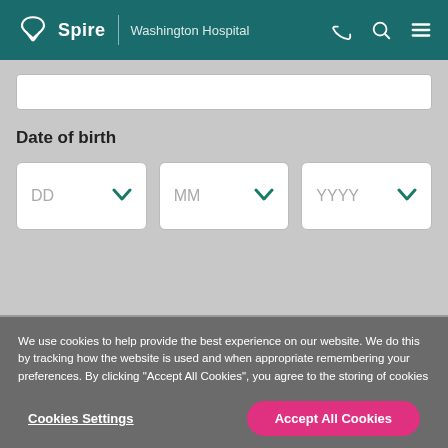Spire | Washington Hospital
Date of birth
[Figure (screenshot): Date of birth form with three dropdowns: DD, MM, YYYY]
We use cookies to help provide the best experience on our website. We do this by tracking how the website is used and when appropriate remembering your preferences. By clicking "Accept All Cookies", you agree to the storing of cookies on your device to enhance site navigation, analyze site usage, and assist in our marketing efforts. Read our privacy and cookie policy
Cookies Settings
Accept All Cookies